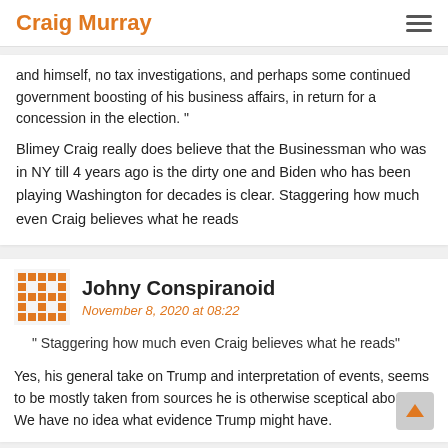Craig Murray
and himself, no tax investigations, and perhaps some continued government boosting of his business affairs, in return for a concession in the election. "
Blimey Craig really does believe that the Businessman who was in NY till 4 years ago is the dirty one and Biden who has been playing Washington for decades is clear. Staggering how much even Craig believes what he reads
Johny Conspiranoid
November 8, 2020 at 08:22
" Staggering how much even Craig believes what he reads"
Yes, his general take on Trump and interpretation of events, seems to be mostly taken from sources he is otherwise sceptical about. We have no idea what evidence Trump might have.